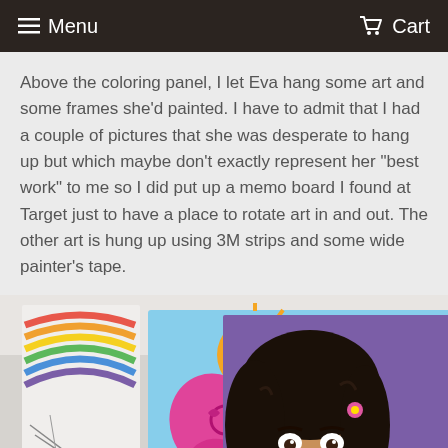Menu   Cart
Above the coloring panel, I let Eva hang some art and some frames she'd painted. I have to admit that I had a couple of pictures that she was desperate to hang up but which maybe don't exactly represent her "best work" to me so I did put up a memo board I found at Target just to have a place to rotate art in and out. The other art is hung up using 3M strips and some wide painter's tape.
[Figure (photo): Photo showing children's artwork hung on a wall: a rainbow drawing on the left, a painting of a pink butterfly with an orange sun on blue background in the center, and a painting of a girl's face with dark hair on a purple background on the right.]